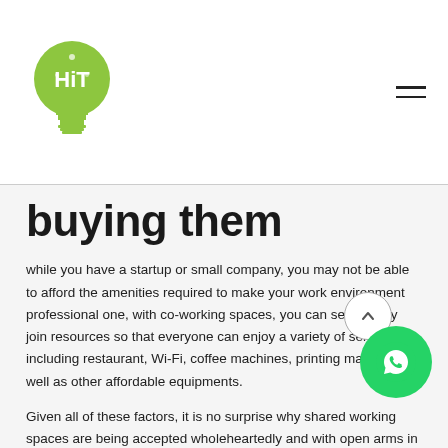HiT logo and navigation menu
buying them
while you have a startup or small company, you may not be able to afford the amenities required to make your work environment professional one, with co-working spaces, you can seamlessly join resources so that everyone can enjoy a variety of services, including restaurant, Wi-Fi, coffee machines, printing machines as well as other affordable equipments.
Given all of these factors, it is no surprise why shared working spaces are being accepted wholeheartedly and with open arms in our new work world.
iHiT provide the most